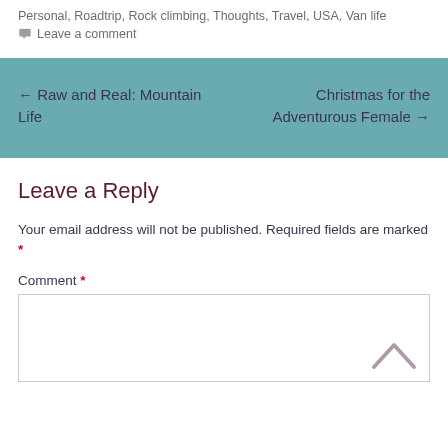Personal, Roadtrip, Rock climbing, Thoughts, Travel, USA, Van life
Leave a comment
← Raw and Real: Mountain Life
Christmas for the Adventurous Female →
Leave a Reply
Your email address will not be published. Required fields are marked *
Comment *